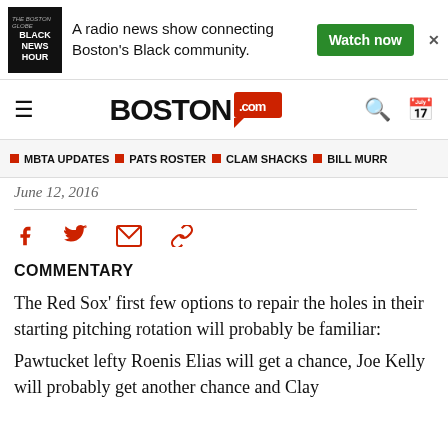[Figure (screenshot): Advertisement banner for Black News Hour - a radio news show connecting Boston's Black community, with Watch now button]
Boston.com navigation bar with hamburger menu, Boston.com logo, search and calendar icons
MBTA UPDATES | PATS ROSTER | CLAM SHACKS | BILL MURR
June 12, 2016
[Figure (infographic): Social sharing icons: Facebook, Twitter, Email, Link]
COMMENTARY
The Red Sox' first few options to repair the holes in their starting pitching rotation will probably be familiar:
Pawtucket lefty Roenis Elias will get a chance, Joe Kelly will probably get another chance and Clay